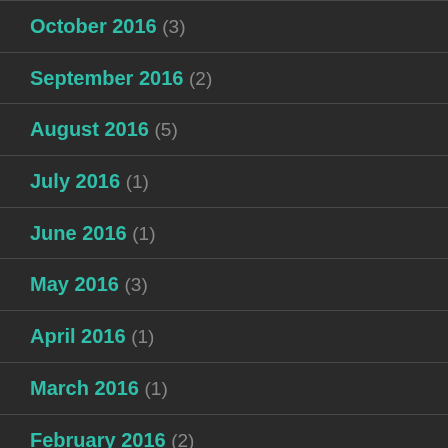October 2016 (3)
September 2016 (2)
August 2016 (5)
July 2016 (1)
June 2016 (1)
May 2016 (3)
April 2016 (1)
March 2016 (1)
February 2016 (2)
January 2016 (1)
December 2015 (1)